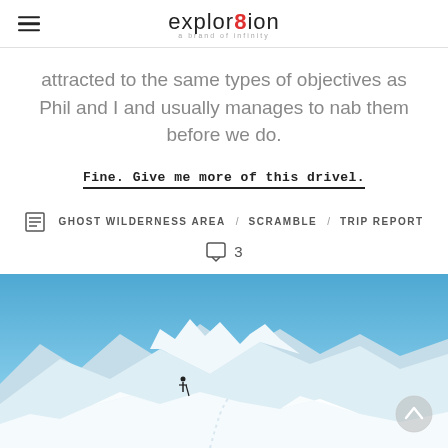explor8ion
attracted to the same types of objectives as Phil and I and usually manages to nab them before we do.
Fine. Give me more of this drivel.
GHOST WILDERNESS AREA / SCRAMBLE / TRIP REPORT
3
[Figure (photo): A snowy mountain ridge with a person standing on the ridge holding ski poles, blue sky and snow-covered mountain peaks in the background. A upward arrow button is visible in the bottom right corner.]